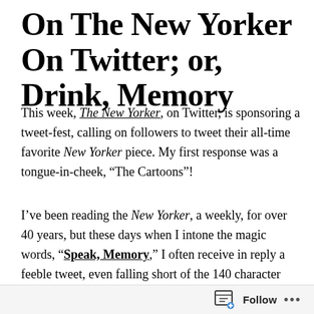On The New Yorker On Twitter; or, Drink, Memory
This week, The New Yorker, on Twitter, is sponsoring a tweet-fest, calling on followers to tweet their all-time favorite New Yorker piece. My first response was a tongue-in-cheek, “The Cartoons”!
I’ve been reading the New Yorker, a weekly, for over 40 years, but these days when I intone the magic words, “Speak, Memory,” I often receive in reply a feeble tweet, even falling short of the 140 character limit. Anyway, it takes more than a tweet to recall a full piece, at least for this twitterer. I do recall one of my favorite all time cartoons, from the mid-80’s. I taped it to my at-work monitor, until my boss at the time told me he didn’t get
Follow ...